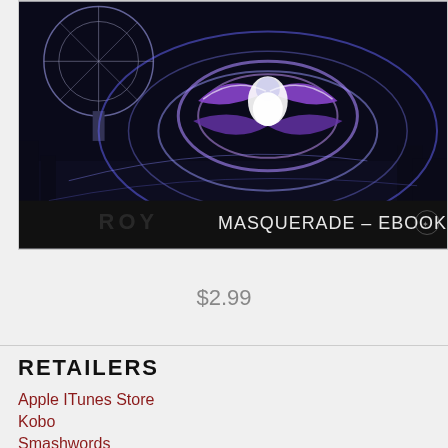[Figure (illustration): Book cover image showing 'MASQUERADE - EBOOK' with dark background, purple/blue glowing circular design, cityscape with a Ferris wheel, and stylized eagle or butterfly figure in the center. Text reads 'MASQUERADE – EBOOK'.]
$2.99
RETAILERS
Apple ITunes Store
Kobo
Smashwords
Scribd.
Oyster